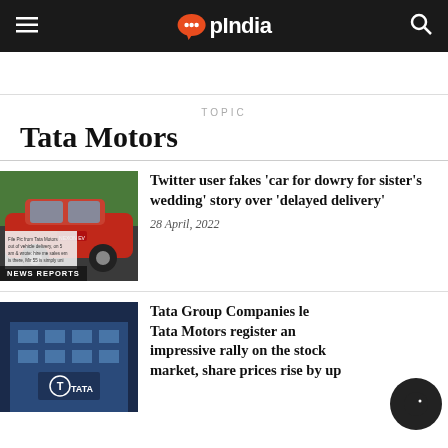OpIndia
TOPIC
Tata Motors
[Figure (photo): Red Tata car (SUV) photo with a screenshot/overlay text, tagged NEWS REPORTS]
Twitter user fakes ‘car for dowry for sister’s wedding’ story over ‘delayed delivery’
28 April, 2022
[Figure (photo): Tata Group building with Tata logo sign]
Tata Group Companies led by Tata Motors register an impressive rally on the stock market, share prices rise by up